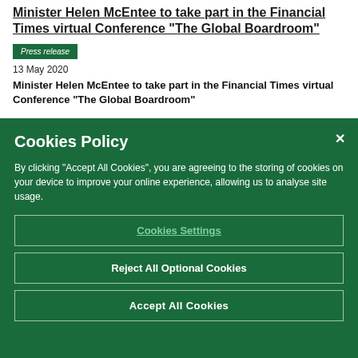Minister Helen McEntee to take part in the Financial Times virtual Conference “The Global Boardroom”
Press release
13 May 2020
Minister Helen McEntee to take part in the Financial Times virtual Conference “The Global Boardroom”
Cookies Policy
By clicking “Accept All Cookies”, you are agreeing to the storing of cookies on your device to improve your online experience, allowing us to analyse site usage.
Cookies Settings
Reject All Optional Cookies
Accept All Cookies